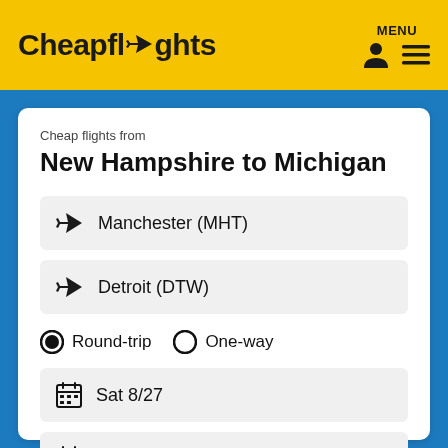Cheapflights   MENU
Cheap flights from
New Hampshire to Michigan
Manchester (MHT)
Detroit (DTW)
Round-trip   One-way
Sat 8/27
Sat 9/3